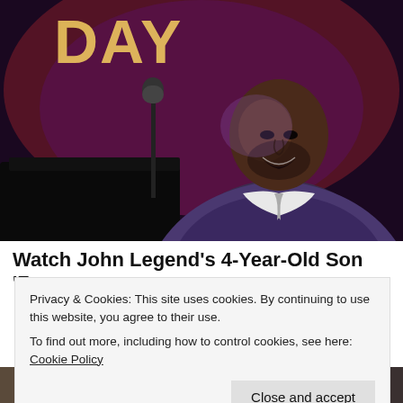[Figure (photo): John Legend performing on stage, singing and playing piano, wearing a grey blazer and white shirt, under purple and red stage lighting, with 'TODAY' text visible in background]
Watch John Legend's 4-Year-Old Son 'Zoom-
Privacy & Cookies: This site uses cookies. By continuing to use this website, you agree to their use.
To find out more, including how to control cookies, see here: Cookie Policy
[Figure (photo): Bottom strip showing partial images of people at bottom of page, with text 'Mom I'm go' visible on right side]